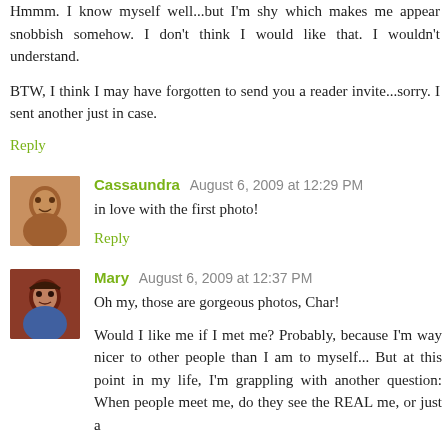Hmmm. I know myself well...but I'm shy which makes me appear snobbish somehow. I don't think I would like that. I wouldn't understand.
BTW, I think I may have forgotten to send you a reader invite...sorry. I sent another just in case.
Reply
Cassaundra August 6, 2009 at 12:29 PM
in love with the first photo!
Reply
Mary August 6, 2009 at 12:37 PM
Oh my, those are gorgeous photos, Char!
Would I like me if I met me? Probably, because I'm way nicer to other people than I am to myself... But at this point in my life, I'm grappling with another question: When people meet me, do they see the REAL me, or just a